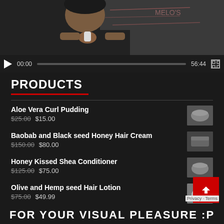[Figure (screenshot): Video player showing a person holding a small product in front of a whiteboard. Controls show 00:00 / 56:44.]
PRODUCTS
Aloe Vera Curl Pudding $25.00 $15.00
Baobab and Black seed Honey Hair Cream $150.00 $80.00
Honey Kissed Shea Conditioner $125.00 $75.00
Olive and Hemp seed Hair Lotion $75.00 $49.99
Softening Baobab Conditioner (rinse-off) $75.00 $49.99
FOR YOUR VISUAL PLEASURE :P